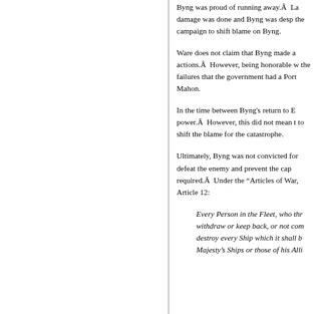Byng was proud of running away.Â  La damage was done and Byng was desp the campaign to shift blame on Byng.
Ware does not claim that Byng made a actions.Â  However, being honorable w the failures that the government had a Port Mahon.
In the time between Byng's return to E power.Â  However, this did not mean t to shift the blame for the catastrophe.
Ultimately, Byng was not convicted for defeat the enemy and prevent the cap required.Â  Under the "Articles of War, Article 12:
Every Person in the Fleet, who thr withdraw or keep back, or not com destroy every Ship which it shall b Majesty's Ships or those of his Alli